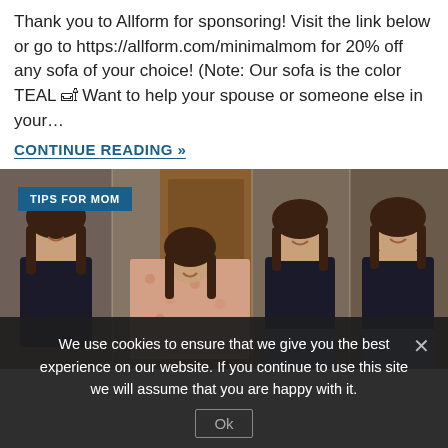Thank you to Allform for sponsoring! Visit the link below or go to https://allform.com/minimalmom for 20% off any sofa of your choice! (Note: Our sofa is the color TEAL 🛋 Want to help your spouse or someone else in your…
CONTINUE READING »
[Figure (photo): Four photos of the same smiling woman in different outfits side by side: black t-shirt, floral top, black t-shirt, black t-shirt with jeans. A 'TIPS FOR MOM' badge overlay is in the top-left corner.]
We use cookies to ensure that we give you the best experience on our website. If you continue to use this site we will assume that you are happy with it.
Ok